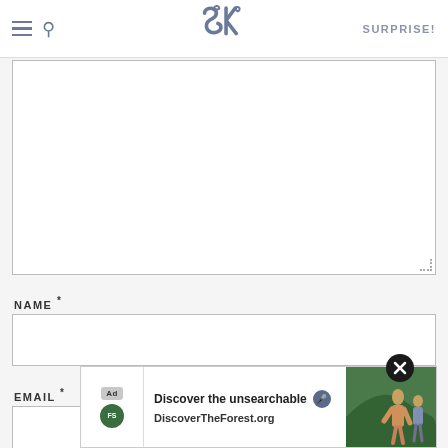SK SURPRISE!
[Figure (other): Large empty textarea / comment box with dotted resize handle at bottom-right]
NAME *
[Figure (other): Name input text field, empty]
EMAIL *
[Figure (other): Email input text field, empty]
[Figure (other): Ad banner overlay: 'Discover the unsearchable / DiscoverTheForest.org' with close button]